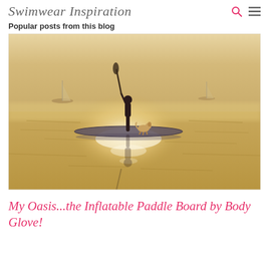Swimwear Inspiration
Popular posts from this blog
[Figure (photo): A person standing on an inflatable paddleboard on calm water at golden hour, holding a paddle, with a small dog on the board. Sailboats are visible in the misty background. The light creates a warm golden glow reflected on the water.]
My Oasis...the Inflatable Paddle Board by Body Glove!